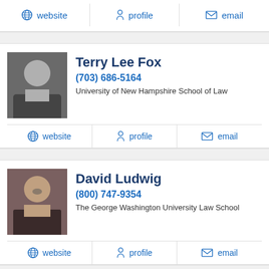website | profile | email (top bar)
Terry Lee Fox
(703) 686-5164
University of New Hampshire School of Law
website | profile | email
David Ludwig
(800) 747-9354
The George Washington University Law School
website | profile | email
Andrew P. Connors